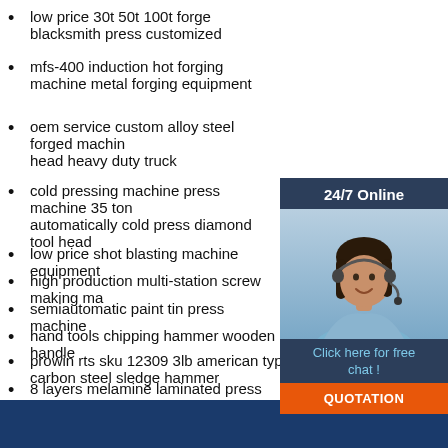low price 30t 50t 100t forge blacksmith press customized
mfs-400 induction hot forging machine metal forging equipment
oem service custom alloy steel forged machine head heavy duty truck
cold pressing machine press machine 35 ton automatically cold press diamond tool head
low price shot blasting machine equipment
high production multi-station screw making ma
semiautomatic paint tin press machine
hand tools chipping hammer wooden handle
prowin rts sku 12309 3lb american type black carbon steel sledge hammer
8 layers melamine laminated press machine p lamination
industrial fruit juice squeezer grape juice extractor machine
high quality cheap prices servo bending machine press brake
[Figure (illustration): Customer service representative with headset, 24/7 Online widget with chat and quotation button]